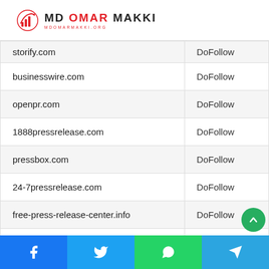MD Omar Makki - mdomarmakki.org
| Domain | Link Type |
| --- | --- |
| storify.com | DoFollow |
| businesswire.com | DoFollow |
| openpr.com | DoFollow |
| 1888pressrelease.com | DoFollow |
| pressbox.com | DoFollow |
| 24-7pressrelease.com | DoFollow |
| free-press-release-center.info | DoFollow |
| prfire.co.uk | DoFollow |
| prurgent.com | DoFollow |
Facebook | Twitter | WhatsApp | Telegram